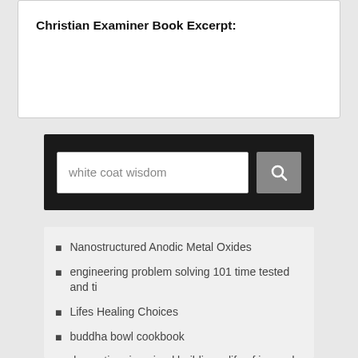Christian Examiner Book Excerpt:
[Figure (screenshot): Search bar with text 'white coat wisdom' and a search button with magnifying glass icon, on a dark background]
Nanostructured Anodic Metal Oxides
engineering problem solving 101 time tested and ti
Lifes Healing Choices
buddha bowl cookbook
dementia reimagined building a life of joy and dignity from beginning to end